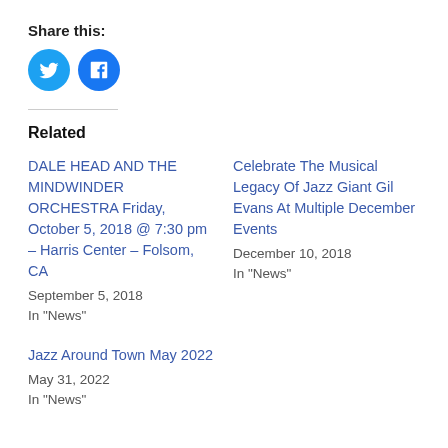Share this:
[Figure (illustration): Two social media share buttons: Twitter (blue circle with bird icon) and Facebook (blue circle with f icon)]
Related
DALE HEAD AND THE MINDWINDER ORCHESTRA Friday, October 5, 2018 @ 7:30 pm – Harris Center – Folsom, CA
September 5, 2018
In "News"
Celebrate The Musical Legacy Of Jazz Giant Gil Evans At Multiple December Events
December 10, 2018
In "News"
Jazz Around Town May 2022
May 31, 2022
In "News"